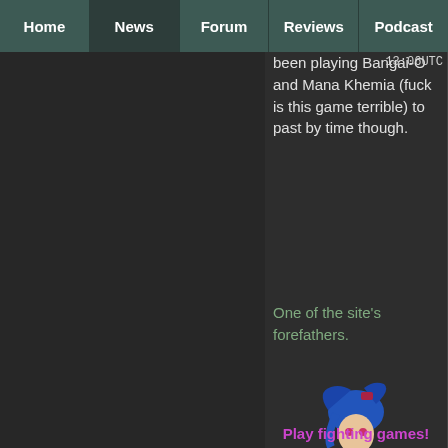Home | News | Forum | Reviews | Podcast
been playing Bangai-O and Mana Khemia (fuck is this game terrible) to past by time though.
13:06UTC
One of the site's forefathers.
[Figure (illustration): Pixel art / anime-style female fighting game character with blue hair, wearing a revealing outfit with mechanical red leg armor, in a fighting stance]
Play fighting games!